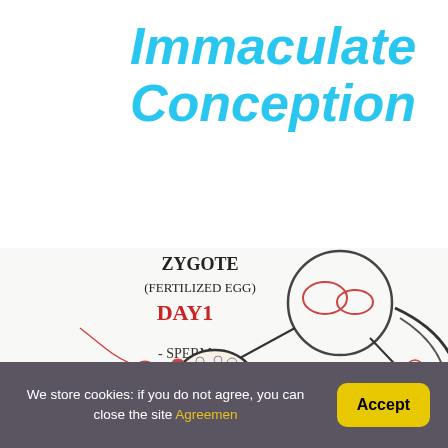Immaculate Conception
[Figure (illustration): Hand-drawn educational diagram showing stages of fertilization: a zygote (fertilized egg) labeled 'ZYGOTE (FERTILIZED EGG) DAY 1' with a circular cell diagram, sperm cells labeled '- SPERM' approaching an egg cell, and a partial view of what appears to be a blastocyst or morula stage on the right.]
We store cookies: if you do not agree, you can close the site Agreemen
Accept